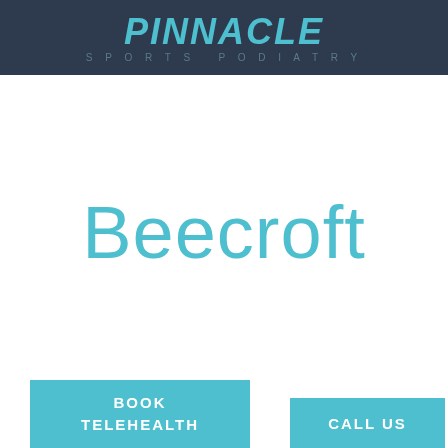PINNACLE SPORTS PODIATRY
Beecroft
BOOK TELEHEALTH
CALL US